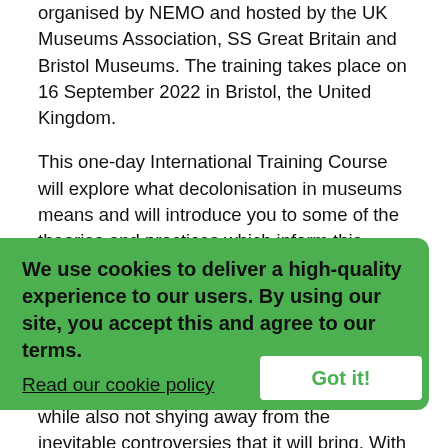organised by NEMO and hosted by the UK Museums Association, SS Great Britain and Bristol Museums. The training takes place on 16 September 2022 in Bristol, the United Kingdom.
This one-day International Training Course will explore what decolonisation in museums means and will introduce you to some of the theories and practices which inform this work.
Starting with an overview of decolonisation, the morning workshop will introduce you to the ways in which this work can be approached in a straightforward manner, while also not shying away from the inevitable controversies that it will bring. With evidence of good practice and thinking in this area, it aims to inspire you either to begin or continue your decolonisation work with confidence. The afternoon will include a behind-the-scenes tour of the M-Shed, where the statue of slaver Edward Colston which was thrown into the harbour during the BLM protests in 2022 has been
We use cookies to deliver a high-quality experience to our users. By using our site, you accept this and agree to our terms.
Read our cookie policy
Got it!